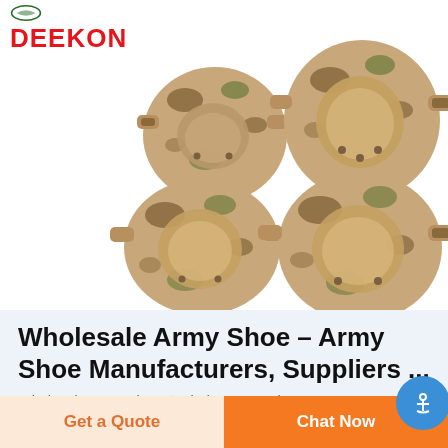[Figure (photo): Four camouflage tactical knee and elbow pads in multicam/desert pattern, arranged in a 2x2 grid on a white background. The pads have hard plastic caps and fabric straps.]
Wholesale Army Shoe – Army Shoe Manufacturers, Suppliers ...
Wholesale Army Shoe ☆ Find 51 army shoe
Get a Quote
Chat Now